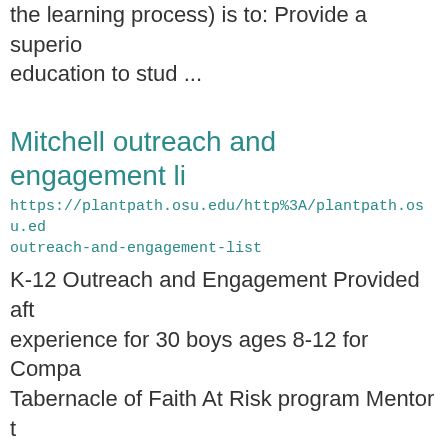the learning process) is to: Provide a superior education to stud ...
Mitchell outreach and engagement li
https://plantpath.osu.edu/http%3A/plantpath.osu.edu/outreach-and-engagement-list
K-12 Outreach and Engagement Provided aft experience for 30 boys ages 8-12 for Compa Tabernacle of Faith At Risk program Mentor t students from Southeastern Wake High Scho School, and Broughton High Sc ...
Miller publications
https://plantpath.osu.edu/http%3A/oardc.osu.edu/sa publications
(Since 1999) Raysal, F., Benitez, M. S., Klein